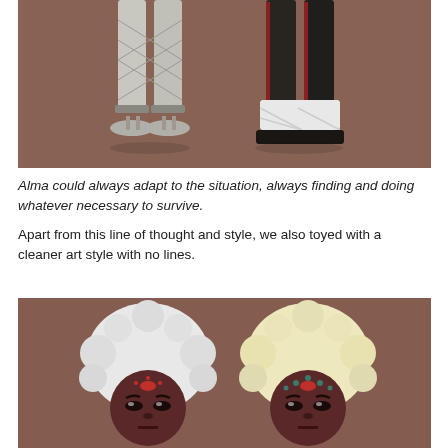[Figure (illustration): Two illustrated figures shown from the waist down on a brownish-mauve background. Left figure wears white/gray wrapped pants with rope/cord bindings at the ankles and flat sandals. Right figure wears dark/black pants with white wrapped ankle bindings and dark shoes.]
Alma could always adapt to the situation, always finding and doing whatever necessary to survive.
Apart from this line of thought and style, we also toyed with a cleaner art style with no lines.
[Figure (illustration): Two illustrated character faces/heads on a brownish-mauve background. Both characters have large curly hair (left: white/silver, right: cream/yellow), dark reddish-brown skin, dramatic eye makeup, and decorative dots/markings on their foreheads.]